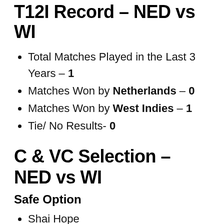T12I Record – NED vs WI
Total Matches Played in the Last 3 Years – 1
Matches Won by Netherlands – 0
Matches Won by West Indies – 1
Tie/ No Results- 0
C & VC Selection – NED vs WI
Safe Option
Shai Hope
Logan van Beek
Kyle Mayers (partially visible)